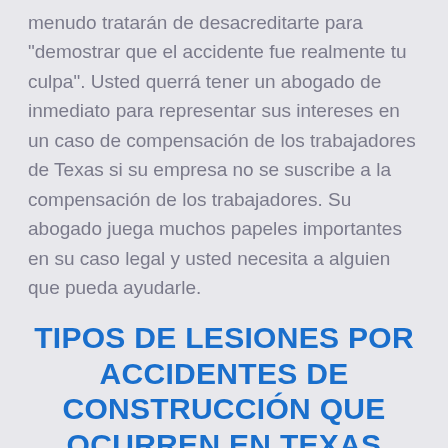menudo tratarán de desacreditarte para "demostrar que el accidente fue realmente tu culpa". Usted querrá tener un abogado de inmediato para representar sus intereses en un caso de compensación de los trabajadores de Texas si su empresa no se suscribe a la compensación de los trabajadores. Su abogado juega muchos papeles importantes en su caso legal y usted necesita a alguien que pueda ayudarle.
TIPOS DE LESIONES POR ACCIDENTES DE CONSTRUCCIÓN QUE OCURREN EN TEXAS
Debido al trabajo en altura y a la maquinaria pesada